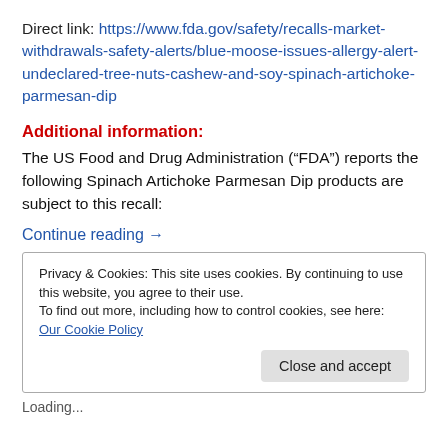Direct link: https://www.fda.gov/safety/recalls-market-withdrawals-safety-alerts/blue-moose-issues-allergy-alert-undeclared-tree-nuts-cashew-and-soy-spinach-artichoke-parmesan-dip
Additional information:
The US Food and Drug Administration (“FDA”) reports the following Spinach Artichoke Parmesan Dip products are subject to this recall:
Continue reading →
Privacy & Cookies: This site uses cookies. By continuing to use this website, you agree to their use. To find out more, including how to control cookies, see here: Our Cookie Policy
Loading...